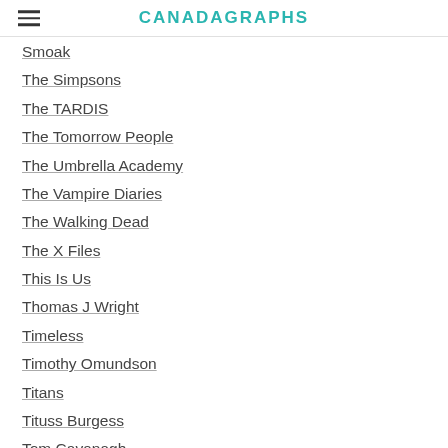CANADAGRAPHS
Smoak
The Simpsons
The TARDIS
The Tomorrow People
The Umbrella Academy
The Vampire Diaries
The Walking Dead
The X Files
This Is Us
Thomas J Wright
Timeless
Timothy Omundson
Titans
Tituss Burgess
Tom Cavanagh